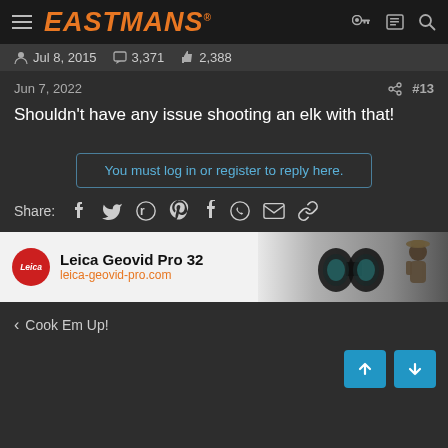EASTMANS
Jul 8, 2015  3,371  2,388
Jun 7, 2022  #13
Shouldn't have any issue shooting an elk with that!
You must log in or register to reply here.
Share:
[Figure (other): Leica Geovid Pro 32 advertisement banner with binoculars and person using optics. URL: leica-geovid-pro.com]
< Cook Em Up!